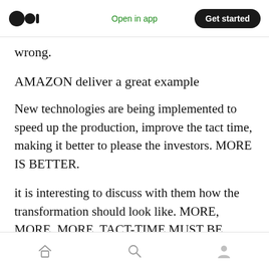Medium app header — Open in app | Get started
wrong.
AMAZON deliver a great example
New technologies are being implemented to speed up the production, improve the tact time, making it better to please the investors. MORE IS BETTER.
it is interesting to discuss with them how the transformation should look like. MORE, MORE, MORE, TACT-TIME MUST BE SHORTER.
A few years ago I have asked the first CEO what
Bottom navigation bar — Home | Search | Profile